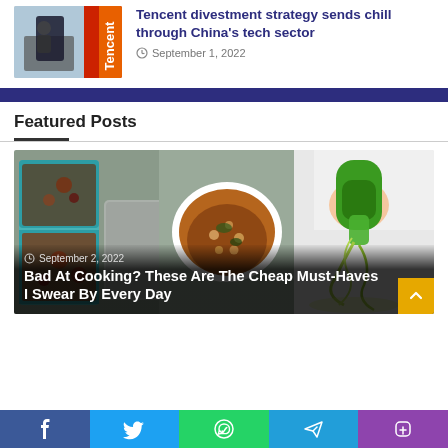[Figure (photo): Tencent article thumbnail showing Tencent branding and a person on a motorcycle with a smartphone]
Tencent divestment strategy sends chill through China's tech sector
September 1, 2022
Featured Posts
[Figure (photo): Collage of food images: meal prep containers with meat, a bowl of stew/curry, and a hand using a green spiralizer making zucchini noodles]
September 2, 2022
Bad At Cooking? These Are The Cheap Must-Haves I Swear By Every Day